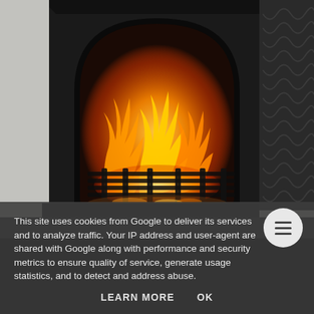[Figure (photo): A black metal fireplace or fire pit with an arched opening, burning wood fire with bright orange and yellow flames visible inside. A dark decorative fire screen is visible to the right. The background shows a light grey wall.]
This site uses cookies from Google to deliver its services and to analyze traffic. Your IP address and user-agent are shared with Google along with performance and security metrics to ensure quality of service, generate usage statistics, and to detect and address abuse.
LEARN MORE    OK